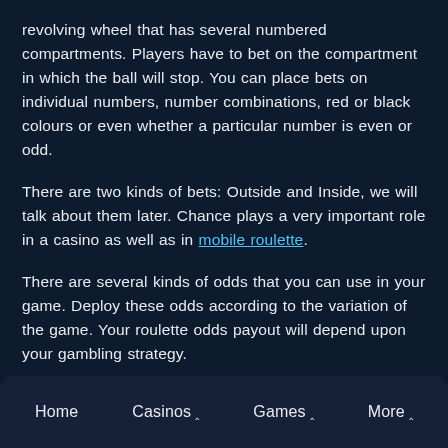revolving wheel that has several numbered compartments. Players have to bet on the compartment in which the ball will stop. You can place bets on individual numbers, number combinations, red or black colours or even whether a particular number is even or odd.
There are two kinds of bets: Outside and Inside, we will talk about them later. Chance plays a very important role in a casino as well as in mobile roulette.
There are several kinds of odds that you can use in your game. Deploy these odds according to the variation of the game. Your roulette odds payout will depend upon your gambling strategy.
Home   Casinos ^   Games ^   More ^